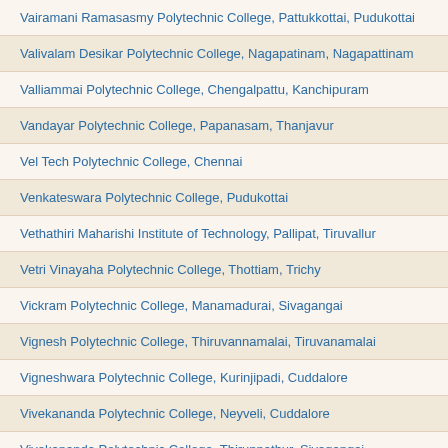Vairamani Ramasasmy Polytechnic College, Pattukkottai, Pudukottai
Valivalam Desikar Polytechnic College, Nagapatinam, Nagapattinam
Valliammai Polytechnic College, Chengalpattu, Kanchipuram
Vandayar Polytechnic College, Papanasam, Thanjavur
Vel Tech Polytechnic College, Chennai
Venkateswara Polytechnic College, Pudukottai
Vethathiri Maharishi Institute of Technology, Pallipat, Tiruvallur
Vetri Vinayaha Polytechnic College, Thottiam, Trichy
Vickram Polytechnic College, Manamadurai, Sivagangai
Vignesh Polytechnic College, Thiruvannamalai, Tiruvanamalai
Vigneshwara Polytechnic College, Kurinjipadi, Cuddalore
Vivekananda Polytechnic College, Neyveli, Cuddalore
Vivekananda Polytechnic College, Thiruppathur, Sivagangai